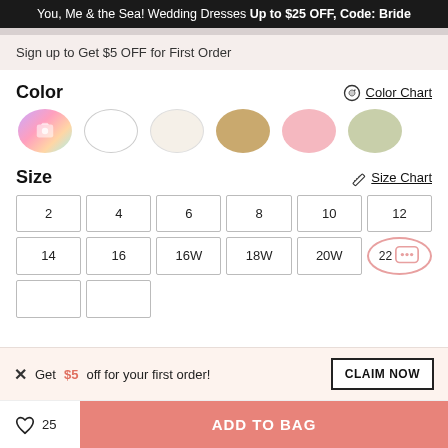You, Me & the Sea! Wedding Dresses Up to $25 OFF, Code: Bride
Sign up to Get $5 OFF for First Order
Color
[Figure (illustration): Color swatch options: custom/photo, white, ivory, champagne, pink, sage]
Size
| 2 | 4 | 6 | 8 | 10 | 12 |
| 14 | 16 | 16W | 18W | 20W | 22 |
Get $5 off for your first order!
ADD TO BAG